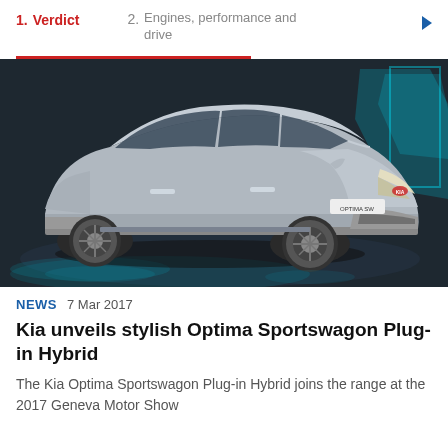1. Verdict   2. Engines, performance and drive
[Figure (photo): Silver Kia Optima Sportswagon Plug-in Hybrid car displayed at a motor show on a dark stage with teal geometric display in background. License plate reads OPTIMA SW.]
NEWS  7 Mar 2017
Kia unveils stylish Optima Sportswagon Plug-in Hybrid
The Kia Optima Sportswagon Plug-in Hybrid joins the range at the 2017 Geneva Motor Show